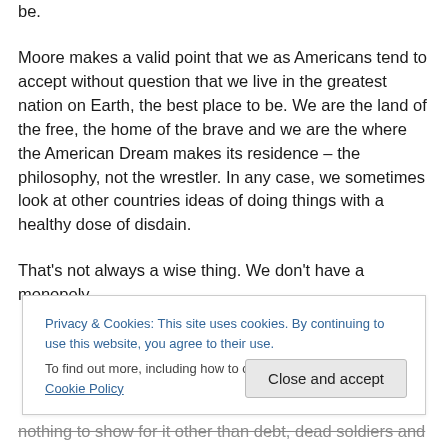be.
Moore makes a valid point that we as Americans tend to accept without question that we live in the greatest nation on Earth, the best place to be. We are the land of the free, the home of the brave and we are the where the American Dream makes its residence – the philosophy, not the wrestler. In any case, we sometimes look at other countries ideas of doing things with a healthy dose of disdain.
That's not always a wise thing. We don't have a monopoly
Privacy & Cookies: This site uses cookies. By continuing to use this website, you agree to their use.
To find out more, including how to control cookies, see here: Cookie Policy
nothing to show for it other than debt, dead soldiers and